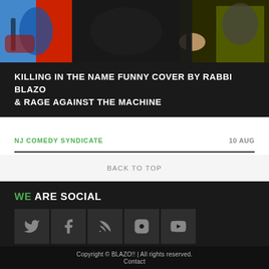[Figure (photo): Photo of musicians playing guitar, colorful background]
KILLING IN THE NAME FUNNY COVER BY RABBI BLAZO & RAGE AGAINST THE MACHINE
NJ COMEDY SYNDICATE
10 AUG
BACK TO TOP
WE ARE SOCIAL
[Figure (infographic): Social media icons: Twitter, Facebook, RSS, Instagram, YouTube]
Copyright © BLAZO!! | All rights reserved.
Contact